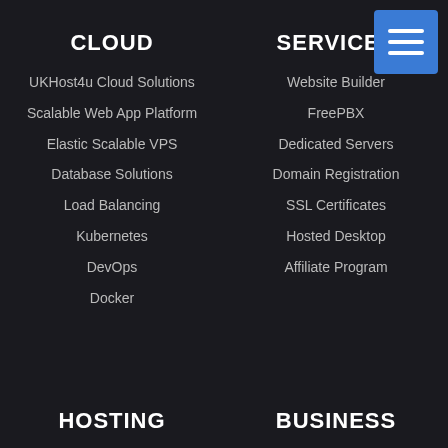CLOUD
UKHost4u Cloud Solutions
Scalable Web App Platform
Elastic Scalable VPS
Database Solutions
Load Balancing
Kubernetes
DevOps
Docker
SERVICES
Website Builder
FreePBX
Dedicated Servers
Domain Registration
SSL Certificates
Hosted Desktop
Affiliate Program
HOSTING
BUSINESS